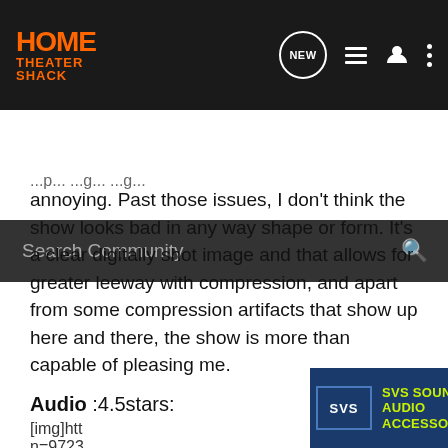[Figure (screenshot): Home Theater Shack website navigation bar with orange logo, NEW bubble icon, list icon, user icon, and dots menu icon on dark background]
[Figure (screenshot): Search Community search bar on dark grey background]
annoying. Past those issues, I don't think the show looks bad in any way shape or form. It's a clear digitally shot image and that allows for greater leeway with compression, and apart from some compression artifacts that show up here and there, the show is more than capable of pleasing me.
Audio :4.5stars:
[img]htt...
n=9723...
[Figure (screenshot): SVS SoundPath Audio Accessories advertisement banner with blue background, SVS logo, yellow-green text, and Learn More button on dark right panel]